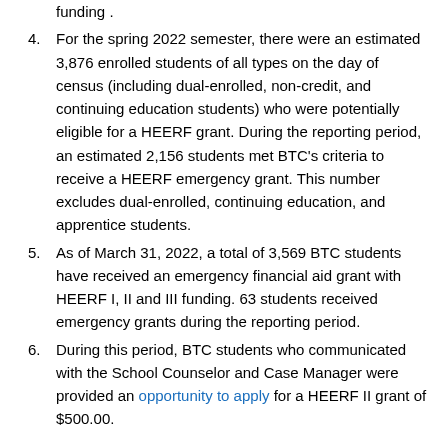funding .
4. For the spring 2022 semester, there were an estimated 3,876 enrolled students of all types on the day of census (including dual-enrolled, non-credit, and continuing education students) who were potentially eligible for a HEERF grant. During the reporting period, an estimated 2,156 students met BTC's criteria to receive a HEERF emergency grant. This number excludes dual-enrolled, continuing education, and apprentice students.
5. As of March 31, 2022, a total of 3,569 BTC students have received an emergency financial aid grant with HEERF I, II and III funding. 63 students received emergency grants during the reporting period.
6. During this period, BTC students who communicated with the School Counselor and Case Manager were provided an opportunity to apply for a HEERF II grant of $500.00.